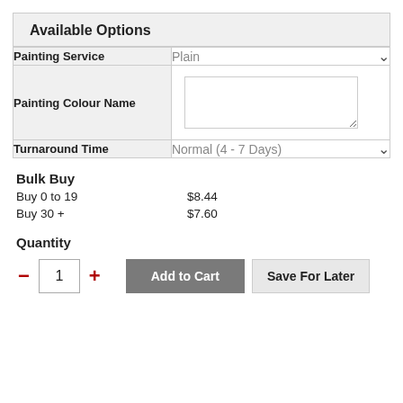Available Options
| Option | Value |
| --- | --- |
| Painting Service | Plain ∨ |
| Painting Colour Name |  |
| Turnaround Time | Normal (4 - 7 Days) ∨ |
Bulk Buy
Buy 0 to 19    $8.44
Buy 30 +    $7.60
Quantity
− 1 +  Add to Cart  Save For Later